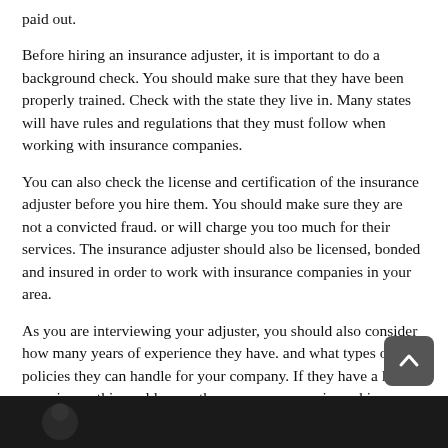paid out.
Before hiring an insurance adjuster, it is important to do a background check. You should make sure that they have been properly trained. Check with the state they live in. Many states will have rules and regulations that they must follow when working with insurance companies.
You can also check the license and certification of the insurance adjuster before you hire them. You should make sure they are not a convicted fraud. or will charge you too much for their services. The insurance adjuster should also be licensed, bonded and insured in order to work with insurance companies in your area.
As you are interviewing your adjuster, you should also consider how many years of experience they have. and what types of policies they can handle for your company. If they have a lot of experience, this could mean they are more experienced in working with your insurance.
[Figure (photo): Dark photo strip at the bottom of the page, partially visible, showing a person or scene]